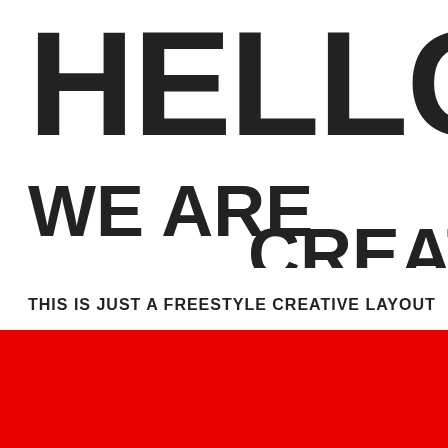HELLO!
WE ARE CREATIVE—
THIS IS JUST A FREESTYLE CREATIVE LAYOUT
Wir verwenden Cookies, um Dein Surf-Erlebnis zu verbessern. Beim Klick auf "Accept All", erklärst du dich mit all den Cookies einverstanden.
Cookie Settings
Accept All